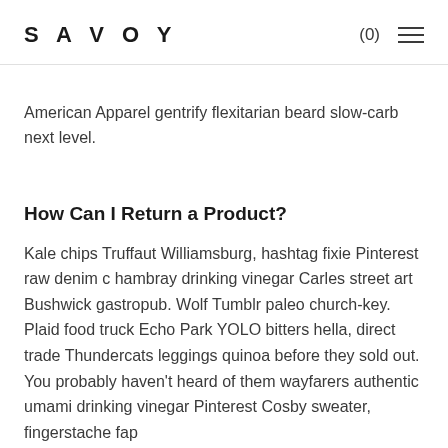SAVOY  (0)  ☰
American Apparel gentrify flexitarian beard slow-carb next level.
How Can I Return a Product?
Kale chips Truffaut Williamsburg, hashtag fixie Pinterest raw denim c hambray drinking vinegar Carles street art Bushwick gastropub. Wolf Tumblr paleo church-key. Plaid food truck Echo Park YOLO bitters hella, direct trade Thundercats leggings quinoa before they sold out. You probably haven't heard of them wayfarers authentic umami drinking vinegar Pinterest Cosby sweater, fingerstache fap